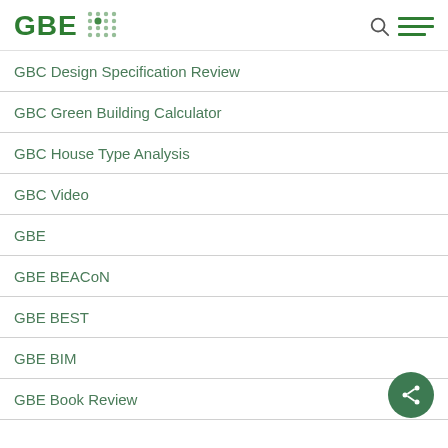GBE [logo] [search] [menu]
GBC Design Specification Review
GBC Green Building Calculator
GBC House Type Analysis
GBC Video
GBE
GBE BEACoN
GBE BEST
GBE BIM
GBE Book Review
[Figure (other): Share button (circular green button with share icon)]